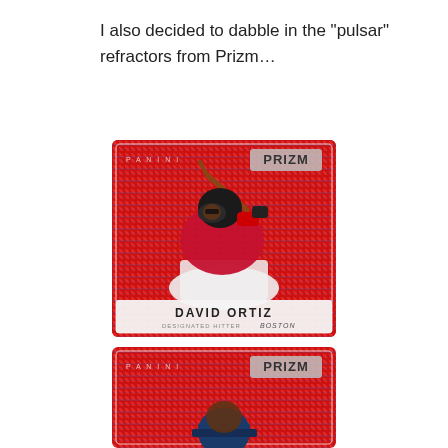I also decided to dabble in the "pulsar" refractors from Prizm...
[Figure (photo): David Ortiz Panini Prizm red pulsar refractor baseball card. Player wearing red Boston Red Sox uniform in batting stance. Card reads: DAVID ORTIZ, DESIGNATED HITTER, BOSTON.]
[Figure (photo): Second Panini Prizm red pulsar refractor baseball card, partially visible, showing a player in a dark uniform with the Prizm logo visible.]